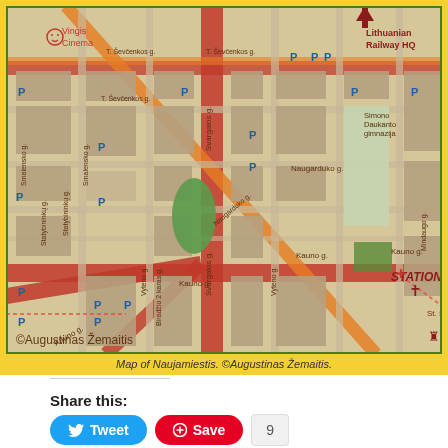[Figure (map): Street map of Naujamiestis district showing roads including Naugarduko g., Kauno g., Svargalos g., Vyteno g., landmarks including Lithuanian Railway HQ, Vingis Cinema, Station District, St. Stephen church, parking areas marked P, copyright Augustinas Zemaitis]
Map of Naujamiestis. ©Augustinas Žemaitis.
Share this:
Tweet
Save
9